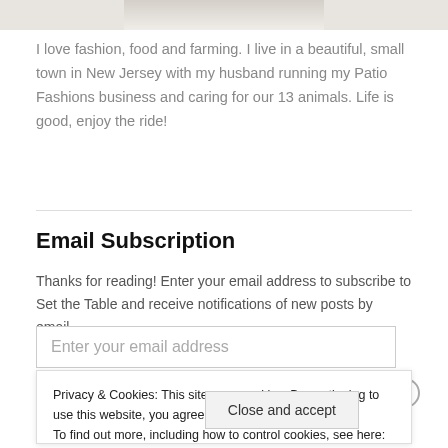[Figure (photo): Partial photo strip at top of page, cropped image visible]
I love fashion, food and farming. I live in a beautiful, small town in New Jersey with my husband running my Patio Fashions business and caring for our 13 animals. Life is good, enjoy the ride!
Email Subscription
Thanks for reading! Enter your email address to subscribe to Set the Table and receive notifications of new posts by email.
Enter your email address
Privacy & Cookies: This site uses cookies. By continuing to use this website, you agree to their use.
To find out more, including how to control cookies, see here: Cookie Policy
Close and accept